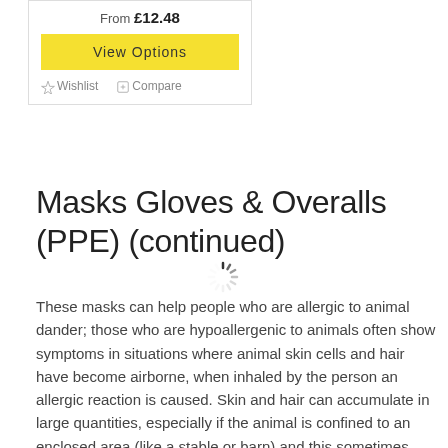From £12.48
View Options
☆ Wishlist   🔖 Compare
Masks Gloves & Overalls (PPE) (continued)
[Figure (other): Loading spinner icon]
These masks can help people who are allergic to animal dander; those who are hypoallergenic to animals often show symptoms in situations where animal skin cells and hair have become airborne, when inhaled by the person an allergic reaction is caused. Skin and hair can accumulate in large quantities, especially if the animal is confined to an enclosed area (like a stable or barn) and this sometimes creates an environment that can be irritating to a person's respiratory system. Prolonged exposure to this environment can lower lung function